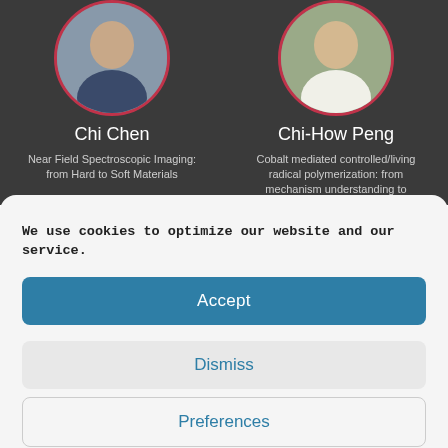[Figure (photo): Circular portrait photo of Chi Chen with pink/red circular border, partially cropped at top]
Chi Chen
Near Field Spectroscopic Imaging: from Hard to Soft Materials
[Figure (photo): Circular portrait photo of Chi-How Peng with pink/red circular border, partially cropped at top]
Chi-How Peng
Cobalt mediated controlled/living radical polymerization: from mechanism understanding to materials application
We use cookies to optimize our website and our service.
Accept
Dismiss
Preferences
Cookie Policy   Privacy Policy